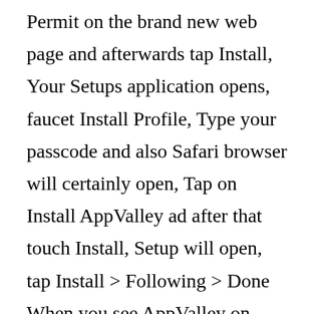Permit on the brand new web page and afterwards tap Install, Your Setups application opens, faucet Install Profile, Type your passcode and also Safari browser will certainly open, Tap on Install AppValley ad after that touch Install, Setup will open, tap Install > Following > Done When you see AppValley on your house screen, you know the app is set up and ready to make use of
Exactly How to Make Use Of AppValley: Introduce AppValley from your homepage,